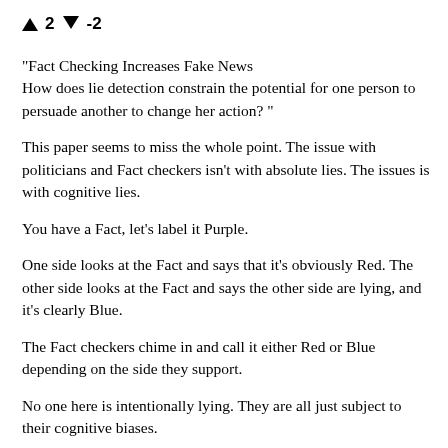↑ 2 ↓ -2
"Fact Checking Increases Fake News How does lie detection constrain the potential for one person to persuade another to change her action? "
This paper seems to miss the whole point. The issue with politicians and Fact checkers isn't with absolute lies. The issues is with cognitive lies.
You have a Fact, let's label it Purple.
One side looks at the Fact and says that it's obviously Red. The other side looks at the Fact and says the other side are lying, and it's clearly Blue.
The Fact checkers chime in and call it either Red or Blue depending on the side they support.
No one here is intentionally lying. They are all just subject to their cognitive biases.